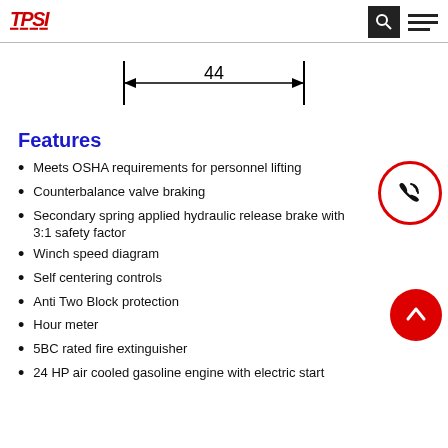TPSI logo with search and menu icons
[Figure (engineering-diagram): Dimension diagram showing a horizontal measurement of 44 units with vertical end markers and arrows]
Features
Meets OSHA requirements for personnel lifting
Counterbalance valve braking
Secondary spring applied hydraulic release brake with 3:1 safety factor
Winch speed diagram
Self centering controls
Anti Two Block protection
Hour meter
5BC rated fire extinguisher
24 HP air cooled gasoline engine with electric start